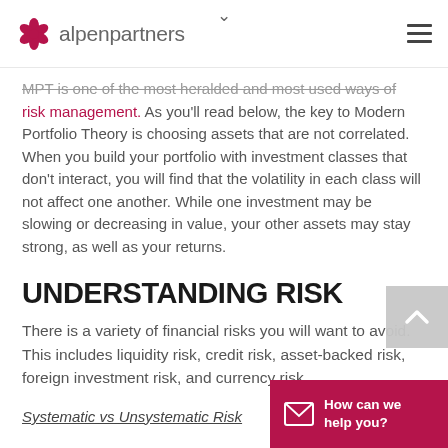alpenpartners
MPT is one of the most heralded and most used ways of risk management. As you'll read below, the key to Modern Portfolio Theory is choosing assets that are not correlated. When you build your portfolio with investment classes that don't interact, you will find that the volatility in each class will not affect one another. While one investment may be slowing or decreasing in value, your other assets may stay strong, as well as your returns.
UNDERSTANDING RISK
There is a variety of financial risks you will want to avoid. This includes liquidity risk, credit risk, asset-backed risk, foreign investment risk, and currency risk.
Systematic vs Unsystematic Risk